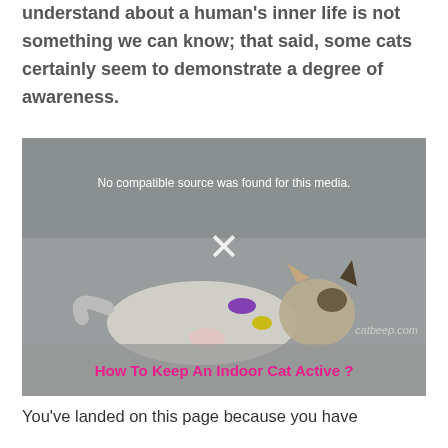understand about a human's inner life is not something we can know; that said, some cats certainly seem to demonstrate a degree of awareness.
[Figure (photo): Video player showing a kitten playing on a blanket with a toy. Overlay text reads 'No compatible source was found for this media.' with a play/close X button in the center. Bottom watermark shows 'catbeep.com'. Pink title bar at bottom reads 'How To Keep An Indoor Cat Active ?']
You've landed on this page because you have